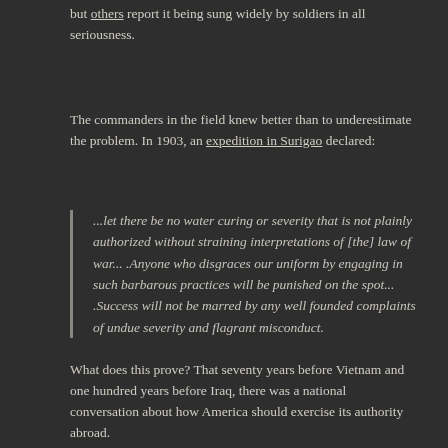but others report it being sung widely by soldiers in all seriousness.
The commanders in the field knew better than to underestimate the problem. In 1903, an expedition in Surigao declared:
...let there be no water curing or severity that is not plainly authorized without straining interpretations of [the] law of war... .Anyone who disgraces our uniform by engaging in such barbarous practices will be punished on the spot... .Success will not be marred by any well founded complaints of undue severity and flagrant misconduct.
What does this prove? That seventy years before Vietnam and one hundred years before Iraq, there was a national conversation about how America should exercise its authority abroad.